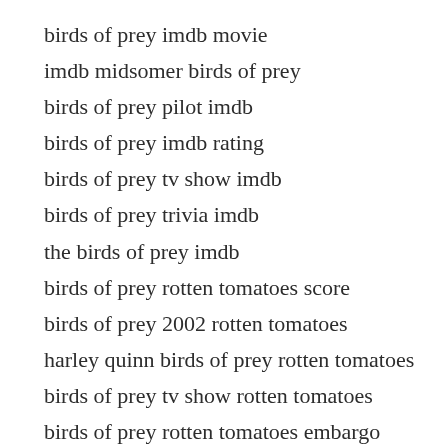birds of prey imdb movie
imdb midsomer birds of prey
birds of prey pilot imdb
birds of prey imdb rating
birds of prey tv show imdb
birds of prey trivia imdb
the birds of prey imdb
birds of prey rotten tomatoes score
birds of prey 2002 rotten tomatoes
harley quinn birds of prey rotten tomatoes
birds of prey tv show rotten tomatoes
birds of prey rotten tomatoes embargo